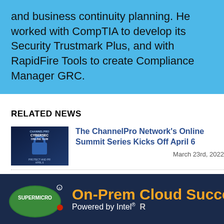and business continuity planning. He worked with CompTIA to develop its Security Trustmark Plus, and with RapidFire Tools to create Compliance Manager GRC.
RELATED NEWS
[Figure (photo): Thumbnail image for cybersecurity online summit article - dark blue background with lock icon and text]
The ChannelPro Network's Online Summit Series Kicks Off April 6
March 23rd, 2022
[Figure (screenshot): Thumbnail image for Kaseya article - dashboard interface with orange header bar]
Kaseya Adds Employee Training, Azure Integration, and Customized
[Figure (logo): Supermicro advertisement banner - dark navy background with Supermicro logo (green oval with white text), orange headline On-Prem Cloud Success, white subtext Powered by Intel]